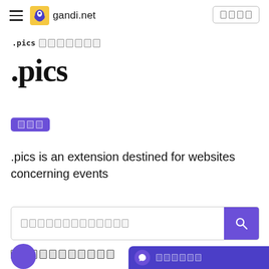gandi.net navigation header
.pics [breadcrumb boxes]
.pics
[badge label boxes]
.pics is an extension destined for websites concerning events
[search input field with search button]
[bottom section text boxes]